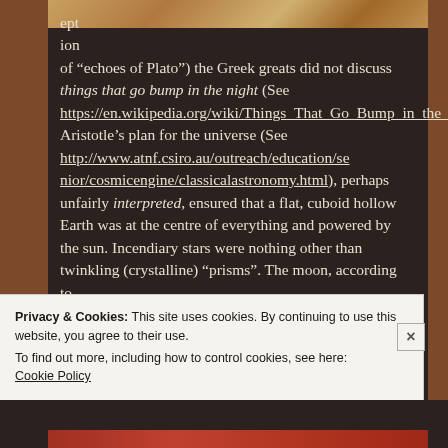[Figure (photo): Partial image visible at top of page, appears to be an animal or classical sculpture, cropped]
ept ion of “echoes of Plato”) the Greek greats did not discuss things that go bump in the night (See https://en.wikipedia.org/wiki/Things_That_Go_Bump_in_the_Night). Aristotle’s plan for the universe (See http://www.atnf.csiro.au/outreach/education/senior/cosmicengine/classicalastronomy.html), perhaps unfairly interpreted, ensured that a flat, cuboid hollow Earth was at the centre of everything and powered by the sun. Incendiary stars were nothing other than twinkling (crystalline) “prisms”. The moon, according to
Privacy & Cookies: This site uses cookies. By continuing to use this website, you agree to their use.
To find out more, including how to control cookies, see here: Cookie Policy
Close and accept